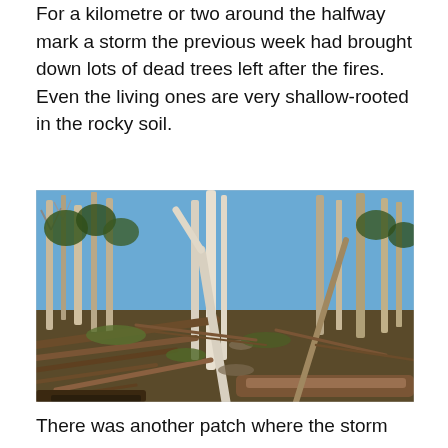For a kilometre or two around the halfway mark a storm the previous week had brought down lots of dead trees left after the fires. Even the living ones are very shallow-rooted in the rocky soil.
[Figure (photo): Photograph of a forest trail surrounded by fallen and damaged trees, with tall eucalyptus trees in the background under a blue sky. Many dead trunks and branches are strewn across the forest floor from storm damage.]
There was another patch where the storm were...